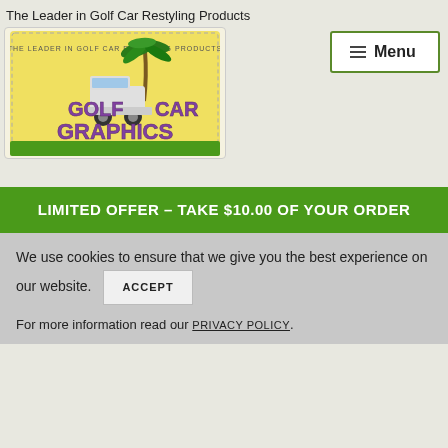The Leader in Golf Car Restyling Products
[Figure (logo): Golf Car Graphics .com logo with palm tree and golf cart on yellow background]
Menu
LIMITED OFFER – TAKE $10.00 OF YOUR ORDER
We use cookies to ensure that we give you the best experience on our website. ACCEPT
For more information read our PRIVACY POLICY.